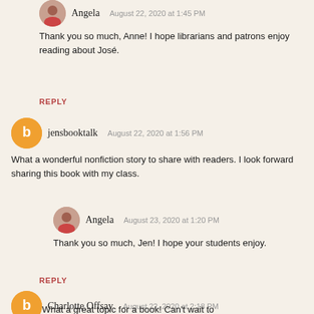Angela  August 22, 2020 at 1:45 PM
Thank you so much, Anne! I hope librarians and patrons enjoy reading about José.
REPLY
jensbooktalk  August 22, 2020 at 1:56 PM
What a wonderful nonfiction story to share with readers. I look forward sharing this book with my class.
Angela  August 23, 2020 at 1:20 PM
Thank you so much, Jen! I hope your students enjoy.
REPLY
Charlotte Offsay  August 22, 2020 at 2:18 PM
What a great topic for a book! Can't wait to